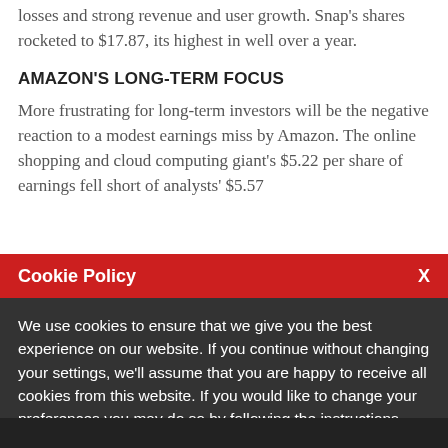losses and strong revenue and user growth. Snap's shares rocketed to $17.87, its highest in well over a year.
AMAZON'S LONG-TERM FOCUS
More frustrating for long-term investors will be the negative reaction to a modest earnings miss by Amazon. The online shopping and cloud computing giant's $5.22 per share of earnings fell short of analysts' $5.57
Cookie Policy
We use cookies to ensure that we give you the best experience on our website. If you continue without changing your settings, we'll assume that you are happy to receive all cookies from this website. If you would like to change your preferences you may do so by following the instructions here.